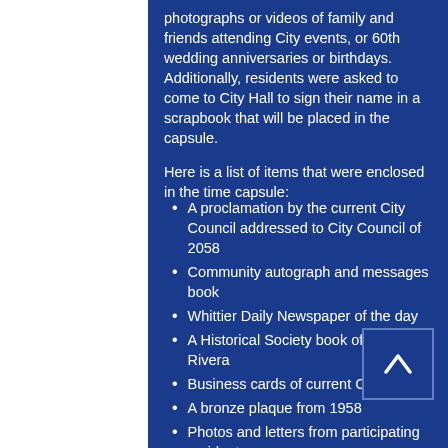photographs or videos of family and friends attending City events, or 60th wedding anniversaries or birthdays. Additionally, residents were asked to come to City Hall to sign their name in a scrapbook that will be placed in the capsule.
Here is a list of items that were enclosed in the time capsule:
A proclamation by the current City Council addressed to City Council of 2058
Community autograph and messages book
Whittier Daily Newspaper of the day
A Historical Society book of Pico Rivera
Business cards of current City staff
A bronze plaque from 1958
Photos and letters from participating residents
Commemorative Profile
2017 editions of the Pico Rivera